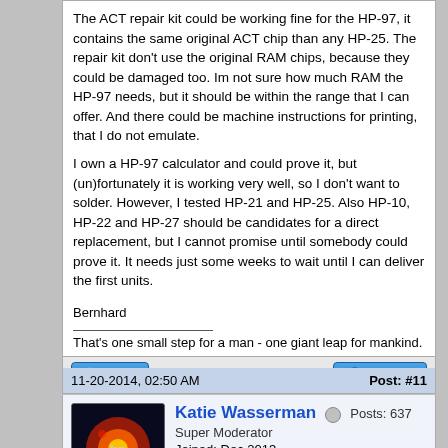The ACT repair kit could be working fine for the HP-97, it contains the same original ACT chip than any HP-25. The repair kit don't use the original RAM chips, because they could be damaged too. Im not sure how much RAM the HP-97 needs, but it should be within the range that I can offer. And there could be machine instructions for printing, that I do not emulate.
I own a HP-97 calculator and could prove it, but (un)fortunately it is working very well, so I don't want to solder. However, I tested HP-21 and HP-25. Also HP-10, HP-22 and HP-27 should be candidates for a direct replacement, but I cannot promise until somebody could prove it. It needs just some weeks to wait until I can deliver the first units.
Bernhard
That's one small step for a man - one giant leap for mankind.
11-20-2014, 02:50 AM
Post: #11
Katie Wasserman  Posts: 637
Super Moderator  Joined: Dec 2013
RE: ACT available